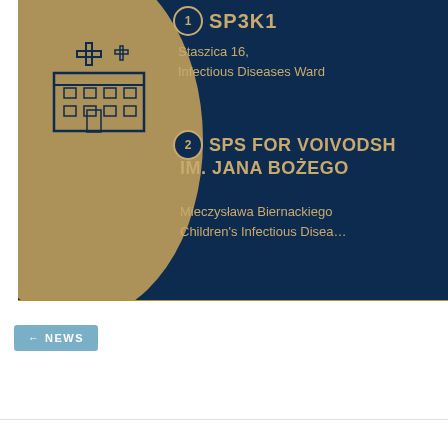[Figure (infographic): Dark navy blue infographic panel showing two hospital/medical facility entries numbered 1 and 2. Entry 1 shows 'SP3K1' (partially visible) with address 'Staszica 16, Infectious Diseases Ward'. Entry 2 shows 'SPS FOR VOIVODSH... IM. JANA BOŻEGO' with address 'Mieczysława Biernackiego, Children's Infectious Disea...' A gold circle decorative element is on the left side with a hospital building icon. Text is in gold/tan color on dark navy background.]
← NEWS